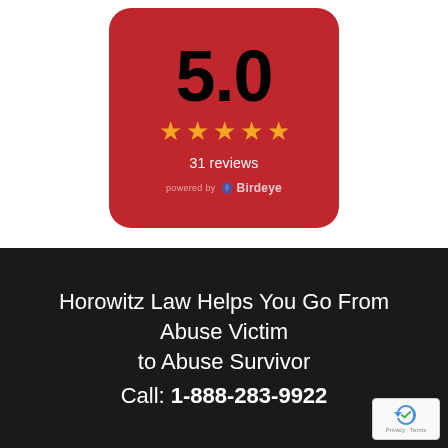[Figure (infographic): Red rounded card widget showing a 5.0 star rating with 5 gold stars, 31 reviews, and 'powered by Birdeye' branding on a white background]
Horowitz Law Helps You Go From Abuse Victim to Abuse Survivor
Call: 1-888-283-9922